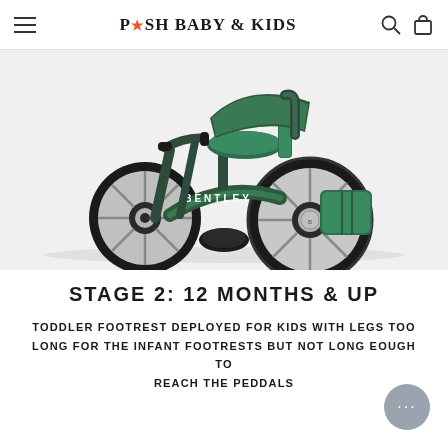POSH BABY & KIDS
[Figure (photo): A dark green Bentley-branded children's tricycle with large spoke wheels, a seat with a green cushion, and a push handle. The frame reads 'BENTLEY' in white text.]
STAGE 2: 12 MONTHS & UP
TODDLER FOOTREST DEPLOYED FOR KIDS WITH LEGS TOO LONG FOR THE INFANT FOOTRESTS BUT NOT LONG EOUGH TO REACH THE PEDDALS